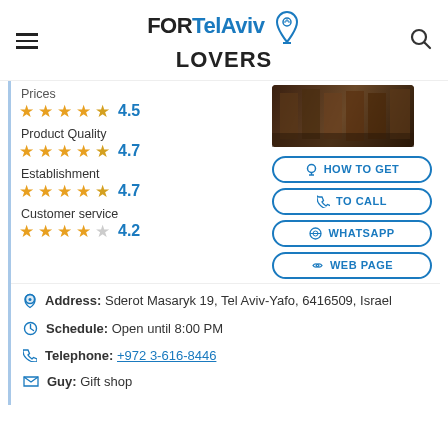FOR Tel Aviv LOVERS
Prices 4.5
Product Quality 4.7
Establishment 4.7
Customer service 4.2
[Figure (photo): Interior photo of a gift shop with shelves of products]
HOW TO GET
TO CALL
WHATSAPP
WEB PAGE
Address: Sderot Masaryk 19, Tel Aviv-Yafo, 6416509, Israel
Schedule: Open until 8:00 PM
Telephone: +972 3-616-8446
Guy: Gift shop